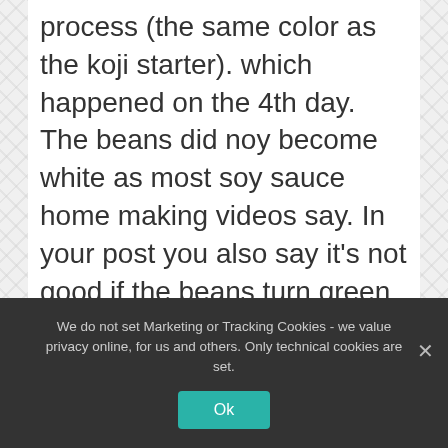process (the same color as the koji starter). which happened on the 4th day. The beans did noy become white as most soy sauce home making videos say. In your post you also say it's not good if the beans turn green and dusty (which happened with mine, although I checked on them like crazy to not overheat them. I also used a whooded tray to give them more air). Sometimes when the temperature raised way to high I had to open up the window.
We do not set Marketing or Tracking Cookies - we value privacy online, for us and others. Only technical cookies are set.